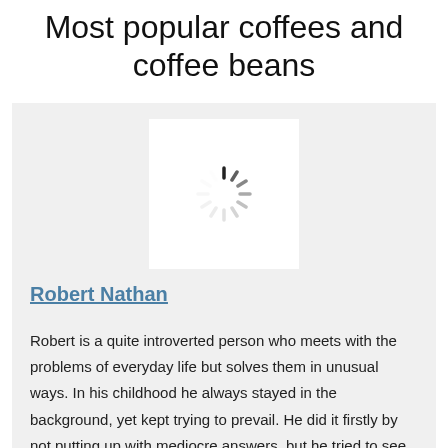Most popular coffees and coffee beans
[Figure (illustration): Loading spinner icon (circular dashed spinner) inside a white square box on a gray card background]
Robert Nathan
Robert is a quite introverted person who meets with the problems of everyday life but solves them in unusual ways. In his childhood he always stayed in the background, yet kept trying to prevail. He did it firstly by not putting up with mediocre answers, but he tried to see behind the problems and find long-term solutions for them.